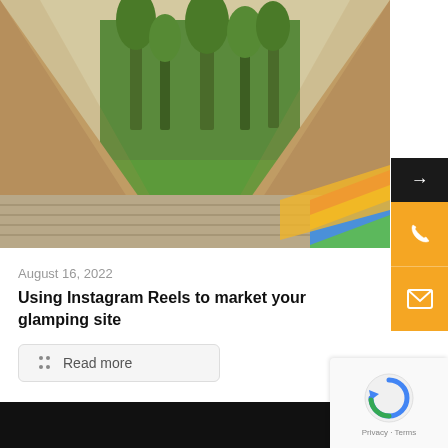[Figure (photo): View from inside a glamping tent looking out through the open entrance onto a green meadow with trees, with a wooden deck floor visible and colorful items in the foreground on the right]
August 16, 2022
Using Instagram Reels to market your glamping site
Read more